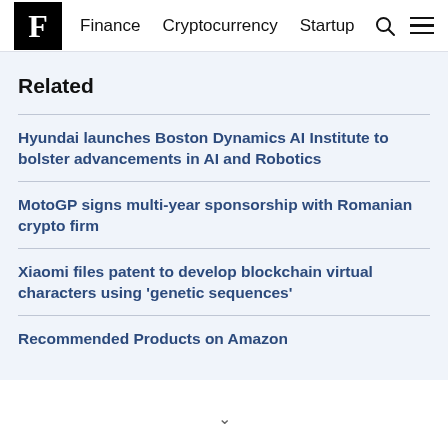F Finance Cryptocurrency Startup
Related
Hyundai launches Boston Dynamics AI Institute to bolster advancements in AI and Robotics
MotoGP signs multi-year sponsorship with Romanian crypto firm
Xiaomi files patent to develop blockchain virtual characters using 'genetic sequences'
Recommended Products on Amazon